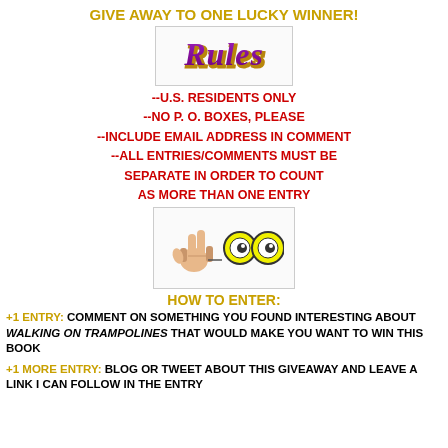GIVE AWAY TO ONE LUCKY WINNER!
[Figure (illustration): Stylized text image reading 'Rules' in purple/gold 3D letters inside a light bordered box]
--U.S. RESIDENTS ONLY
--NO P. O. BOXES, PLEASE
--INCLUDE EMAIL ADDRESS IN COMMENT
--ALL ENTRIES/COMMENTS MUST BE SEPARATE IN ORDER TO COUNT AS MORE THAN ONE ENTRY
[Figure (illustration): Cartoon image of a hand making a peace sign and googly eyes emoji]
HOW TO ENTER:
+1 ENTRY: COMMENT ON SOMETHING YOU FOUND INTERESTING ABOUT WALKING ON TRAMPOLINES THAT WOULD MAKE YOU WANT TO WIN THIS BOOK
+1 MORE ENTRY: BLOG OR TWEET ABOUT THIS GIVEAWAY AND LEAVE A LINK I CAN FOLLOW IN THE ENTRY